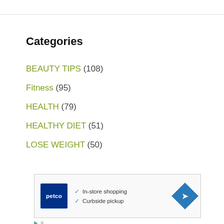Categories
BEAUTY TIPS (108)
Fitness (95)
HEALTH (79)
HEALTHY DIET (51)
LOSE WEIGHT (50)
[Figure (other): Petco advertisement banner showing logo with 'In-store shopping' and 'Curbside pickup' checkmarks and a navigation arrow icon]